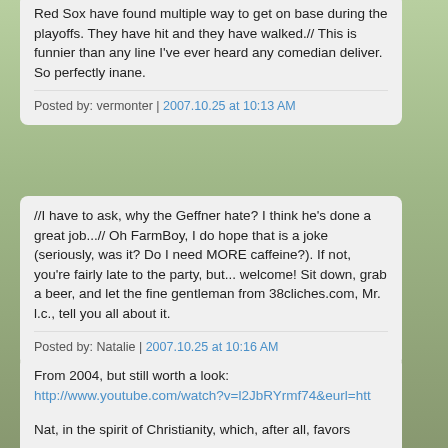Red Sox have found multiple way to get on base during the playoffs. They have hit and they have walked.// This is funnier than any line I've ever heard any comedian deliver. So perfectly inane.
Posted by: vermonter | 2007.10.25 at 10:13 AM
//I have to ask, why the Geffner hate? I think he's done a great job...// Oh FarmBoy, I do hope that is a joke (seriously, was it? Do I need MORE caffeine?). If not, you're fairly late to the party, but... welcome! Sit down, grab a beer, and let the fine gentleman from 38cliches.com, Mr. l.c., tell you all about it.
Posted by: Natalie | 2007.10.25 at 10:16 AM
From 2004, but still worth a look: http://www.youtube.com/watch?v=l2JbRYrmf74&eurl=http://adweek.blogs.com/adfreak/
Posted by: Bob | 2007.10.25 at 10:19 AM
Nat, in the spirit of Christianity, which, after all, favors